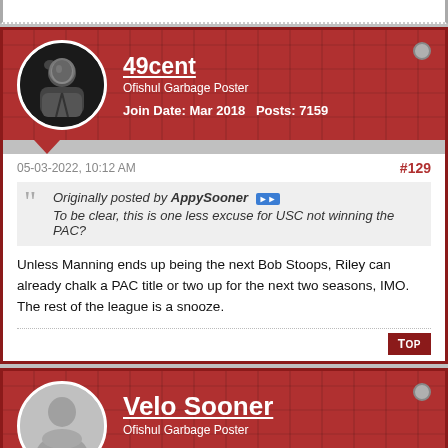[Figure (screenshot): Forum post top filler - partial post at top of page]
49cent
Ofishul Garbage Poster
Join Date: Mar 2018    Posts: 7159
05-03-2022, 10:12 AM
#129
Originally posted by AppySooner
To be clear, this is one less excuse for USC not winning the PAC?
Unless Manning ends up being the next Bob Stoops, Riley can already chalk a PAC title or two up for the next two seasons, IMO. The rest of the league is a snooze.
Velo Sooner
Ofishul Garbage Poster
Join Date: Sep 2018    Posts: 7913